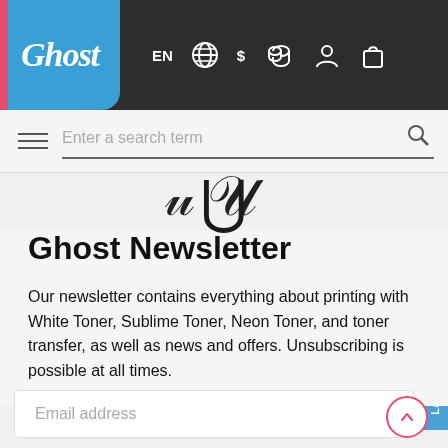Ghost — EN $ [globe icon] [coins icon] [user icon] [bag icon]
[Figure (screenshot): Ghost logo in blue rounded box with pink left accent strip, white italic script text 'Ghost']
Enter a search term
U
Ghost Newsletter
Our newsletter contains everything about printing with White Toner, Sublime Toner, Neon Toner, and toner transfer, as well as news and offers. Unsubscribing is possible at all times.
Email address
Language / Shipping